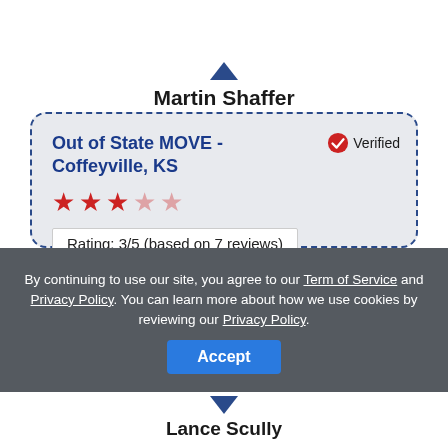Martin Shaffer
Out of State MOVE - Coffeyville, KS
Verified
Rating: 3/5 (based on 7 reviews)
"If in doubt call this company, I have used them twice now and I don◆t have a bad word to say about these guys. They dealt with all the details while I sat back and concentrated on keeping the kids out of trouble."
By continuing to use our site, you agree to our Term of Service and Privacy Policy. You can learn more about how we use cookies by reviewing our Privacy Policy.
Lance Scully